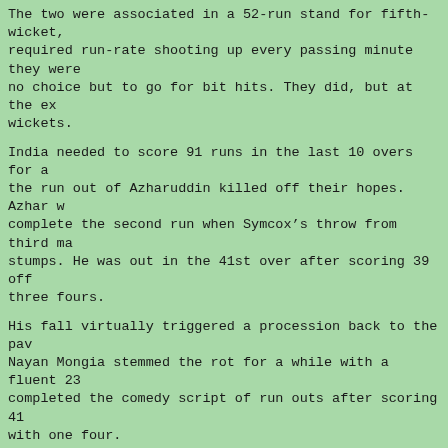The two were associated in a 52-run stand for fifth-wicket, required run-rate shooting up every passing minute they were no choice but to go for bit hits. They did, but at the expense of wickets.
India needed to score 91 runs in the last 10 overs for a win but the run out of Azharuddin killed off their hopes. Azhar was trying to complete the second run when Symcox’s throw from third man hit stumps. He was out in the 41st over after scoring 39 off three fours.
His fall virtually triggered a procession back to the pavilion. Nayan Mongia stemmed the rot for a while with a fluent 23 but completed the comedy script of run outs after scoring 41 balls with one four.
Kirsten, who scored a total of 356 runs in five matches, including centuries both against India, was named Man of the Match and Man of the Series.
Rashid Latif of Pakistan won the award for the fastest 50 in 30 balls against India. Matthews was declared the Best Bowler. Best Fielder went to Kirsten, his third award.
A delighted South African skipper Cronje said: “We have achieved all the goals we set for this season, except for the big one (World Cup).
DWS*DWS*DWS*DWS*DWS*DWS*DWS*DWS*DWS*DWS*DWS*DWS*DWS*DWS*D
960420